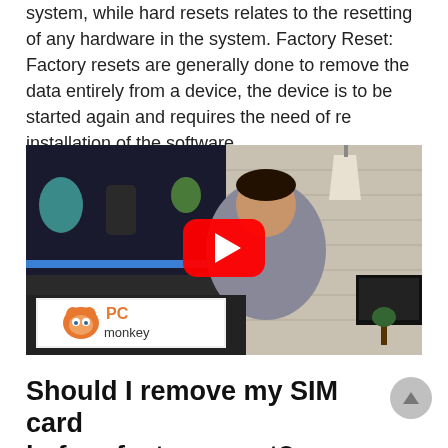system, while hard resets relates to the resetting of any hardware in the system. Factory Reset: Factory resets are generally done to remove the data entirely from a device, the device is to be started again and requires the need of re installation of the software.
[Figure (screenshot): YouTube video thumbnail showing a man in a grey hoodie sitting in front of a laptop displaying the PC Monkey logo, with a YouTube play button overlay in the center.]
Should I remove my SIM card before factory reset?